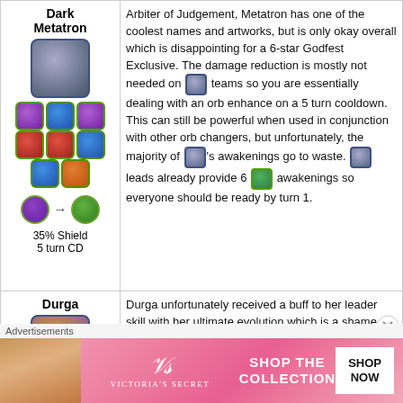Dark Metatron
Arbiter of Judgement, Metatron has one of the coolest names and artworks, but is only okay overall which is disappointing for a 6-star Godfest Exclusive. The damage reduction is mostly not needed on [icon] teams so you are essentially dealing with an orb enhance on a 5 turn cooldown. This can still be powerful when used in conjunction with other orb changers, but unfortunately, the majority of [icon]'s awakenings go to waste. [icon] leads already provide 6 [icon] awakenings so everyone should be ready by turn 1.
35% Shield
5 turn CD
Durga
Durga unfortunately received a buff to her leader skill with her ultimate evolution which is a shame because her viability as a sub was hurt due to only 4 awakenings. Perhaps a buff will come in the future. Regardless, [icon] will provide your team with 2x damage for one turn. Just be careful with resetting your HP to 1 if it is not the final boss floor.
2x ATK God s...
Advertisements
[Figure (illustration): Victoria's Secret advertisement banner with model photo, VS logo, 'SHOP THE COLLECTION' text, and 'SHOP NOW' button]